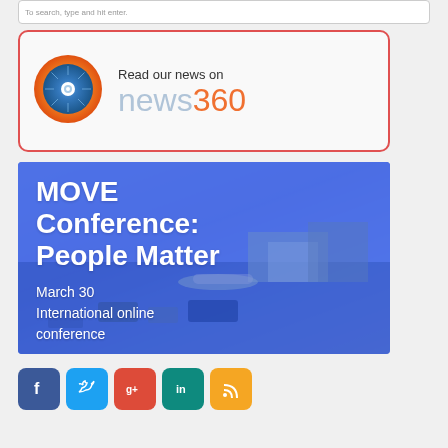To search, type and hit enter.
[Figure (logo): News360 app logo with circular design and text 'Read our news on news360' inside a red-bordered box]
[Figure (infographic): MOVE Conference: People Matter - March 30 International online conference. Blue-tinted airport image background with white bold text overlay.]
[Figure (infographic): Row of social media icons: Facebook, Twitter, Google+, LinkedIn, RSS feed]